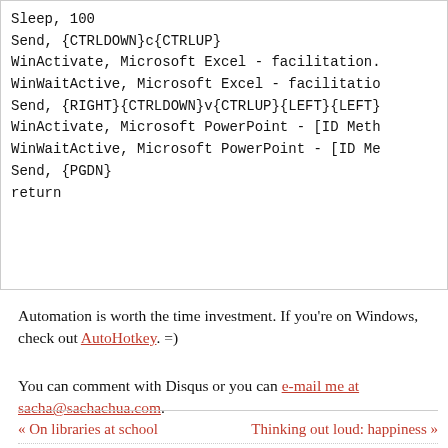Sleep, 100
Send, {CTRLDOWN}c{CTRLUP}
WinActivate, Microsoft Excel - facilitation.
WinWaitActive, Microsoft Excel - facilitatio
Send, {RIGHT}{CTRLDOWN}v{CTRLUP}{LEFT}{LEFT}
WinActivate, Microsoft PowerPoint - [ID Meth
WinWaitActive, Microsoft PowerPoint - [ID Me
Send, {PGDN}
return
Automation is worth the time investment. If you're on Windows, check out AutoHotkey. =)
You can comment with Disqus or you can e-mail me at sacha@sachachua.com.
« On libraries at school   Thinking out loud: happiness »